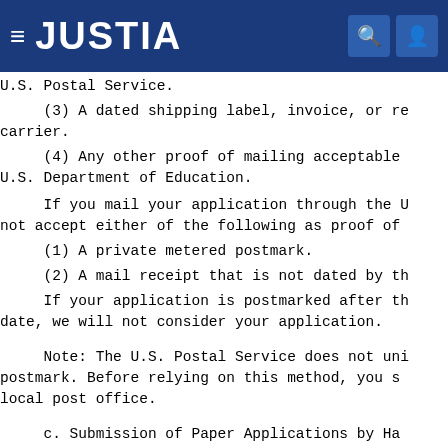JUSTIA
(3) A dated shipping label, invoice, or receipt from a commercial carrier.
(4) Any other proof of mailing acceptable to the U.S. Department of Education.
If you mail your application through the U.S. Postal Service, we will not accept either of the following as proof of mailing:
(1) A private metered postmark.
(2) A mail receipt that is not dated by the U.S. Postal Service.
If your application is postmarked after the deadline date, we will not consider your application.
Note: The U.S. Postal Service does not uniformly provide a postmark. Before relying on this method, you should check with your local post office.
c. Submission of Paper Applications by Hand Delivery.